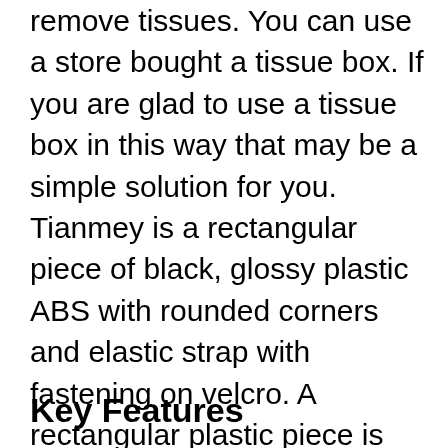remove tissues. You can use a store bought a tissue box. If you are glad to use a tissue box in this way that may be a simple solution for you. Tianmey is a rectangular piece of black, glossy plastic ABS with rounded corners and elastic strap with fastening on velcro. A rectangular plastic piece is suitable over a cloth access area, and elastic belts fasten the fabric box to the place you selected. Install a box of fabric on a car trump, center of armrest or car seat. Depending on the area you choose in your car, you can place a cloth in a landscape or portrait orientation.
Key Features